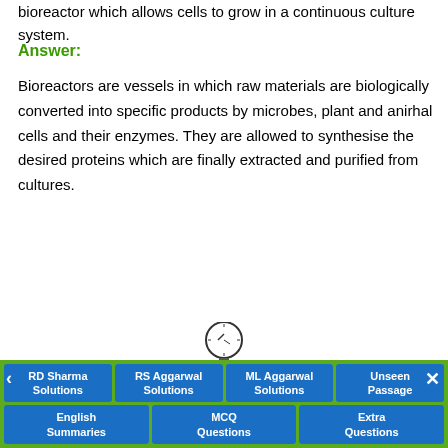bioreactor which allows cells to grow in a continuous culture system.
Answer:
Bioreactors are vessels in which raw materials are biologically converted into specific products by microbes, plant and anirhal cells and their enzymes. They are allowed to synthesise the desired proteins which are finally extracted and purified from cultures.
[Figure (engineering-diagram): Diagram of a bioreactor showing: pressure gauge at top, Motor connected via shaft, Acid/base for pH control input on left side, Foam braker on right side, Flat bladed impeller in the middle, Steam for sterilisation inlet at bottom left, Culture broth label at bottom right.]
RD Sharma Solutions | RS Aggarwal Solutions | ML Aggarwal Solutions | Unseen Passage | English Summaries | MCQ Questions | Extra Questions